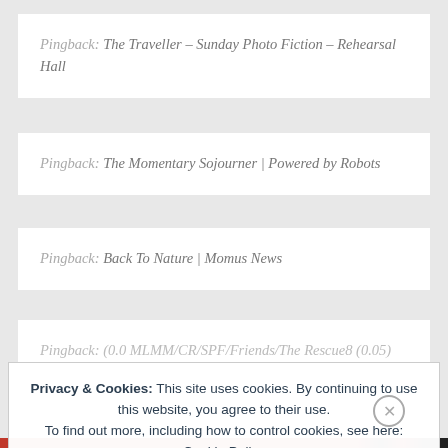Pingback: The Traveller – Sunday Photo Fiction – Rehearsal Hall
Pingback: The Momentary Sojourner | Powered by Robots
Pingback: Back To Nature | Momus News
Pingback: (0.0 MLMM/CR/SPF/Friends/The Rescue8 (0.05)
Privacy & Cookies: This site uses cookies. By continuing to use this website, you agree to their use. To find out more, including how to control cookies, see here: Cookie Policy
Close and accept